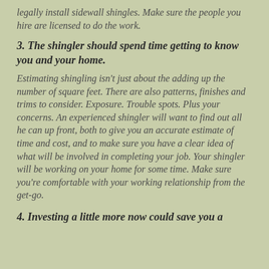legally install sidewall shingles. Make sure the people you hire are licensed to do the work.
3. The shingler should spend time getting to know you and your home.
Estimating shingling isn’t just about the adding up the number of square feet. There are also patterns, finishes and trims to consider. Exposure. Trouble spots. Plus your concerns. An experienced shingler will want to find out all he can up front, both to give you an accurate estimate of time and cost, and to make sure you have a clear idea of what will be involved in completing your job. Your shingler will be working on your home for some time. Make sure you’re comfortable with your working relationship from the get-go.
4. Investing a little more now could save you a